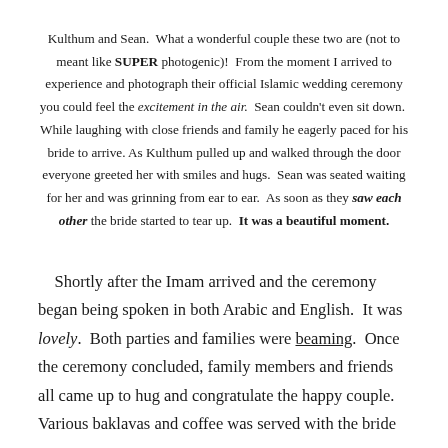Kulthum and Sean. What a wonderful couple these two are (not to meant like SUPER photogenic)! From the moment I arrived to experience and photograph their official Islamic wedding ceremony you could feel the excitement in the air. Sean couldn't even sit down. While laughing with close friends and family he eagerly paced for his bride to arrive. As Kulthum pulled up and walked through the door everyone greeted her with smiles and hugs. Sean was seated waiting for her and was grinning from ear to ear. As soon as they saw each other the bride started to tear up. It was a beautiful moment.
Shortly after the Imam arrived and the ceremony began being spoken in both Arabic and English. It was lovely. Both parties and families were beaming. Once the ceremony concluded, family members and friends all came up to hug and congratulate the happy couple. Various baklavas and coffee was served with the bride